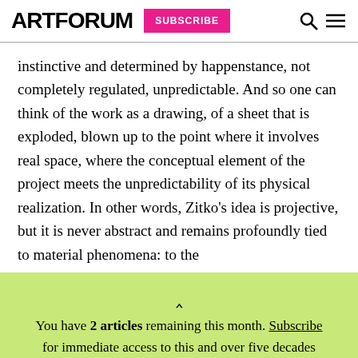ARTFORUM SUBSCRIBE
instinctive and determined by happenstance, not completely regulated, unpredictable. And so one can think of the work as a drawing, of a sheet that is exploded, blown up to the point where it involves real space, where the conceptual element of the project meets the unpredictability of its physical realization. In other words, Zitko’s idea is projective, but it is never abstract and remains profoundly tied to material phenomena: to the
You have 2 articles remaining this month. Subscribe for immediate access to this and over five decades of articles from our archives.